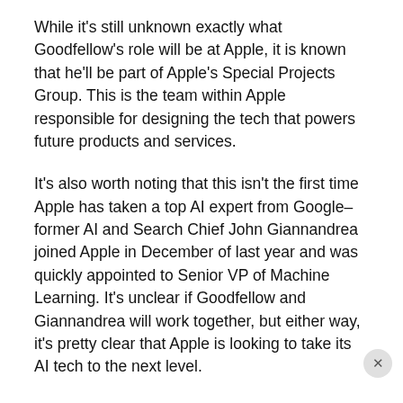While it's still unknown exactly what Goodfellow's role will be at Apple, it is known that he'll be part of Apple's Special Projects Group. This is the team within Apple responsible for designing the tech that powers future products and services.
It's also worth noting that this isn't the first time Apple has taken a top AI expert from Google–former AI and Search Chief John Giannandrea joined Apple in December of last year and was quickly appointed to Senior VP of Machine Learning. It's unclear if Goodfellow and Giannandrea will work together, but either way, it's pretty clear that Apple is looking to take its AI tech to the next level.
Google News: More Android Q Details Emerge